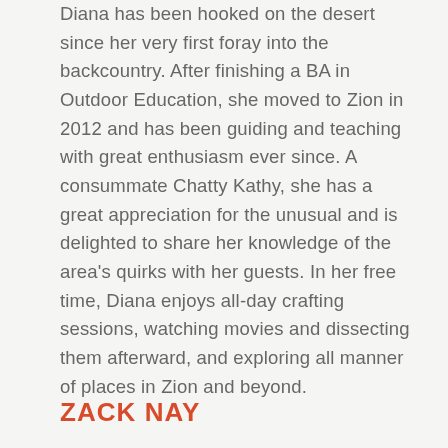Diana has been hooked on the desert since her very first foray into the backcountry. After finishing a BA in Outdoor Education, she moved to Zion in 2012 and has been guiding and teaching with great enthusiasm ever since. A consummate Chatty Kathy, she has a great appreciation for the unusual and is delighted to share her knowledge of the area's quirks with her guests. In her free time, Diana enjoys all-day crafting sessions, watching movies and dissecting them afterward, and exploring all manner of places in Zion and beyond.
ZACK NAY